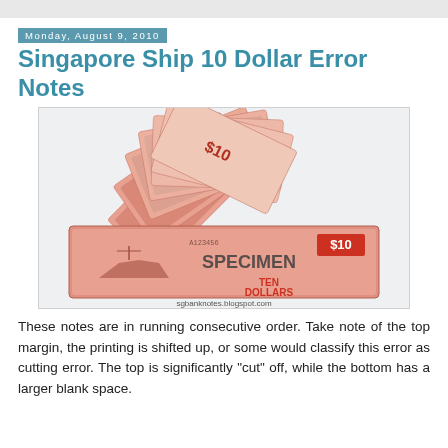Monday, August 9, 2010
Singapore Ship 10 Dollar Error Notes
[Figure (photo): Fan of multiple Singapore $10 banknotes spread out, showing Ship series notes with red/pink coloring. A front-facing specimen note at the bottom displays 'SPECIMEN' watermark text in bold, '$10' denomination, sailing ship image, 'TEN DOLLARS' text, and watermark 'sgbanknotes.blogspot.com'.]
These notes are in running consecutive order. Take note of the top margin, the printing is shifted up, or some would classify this error as cutting error. The top is significantly "cut" off, while the bottom has a larger blank space.